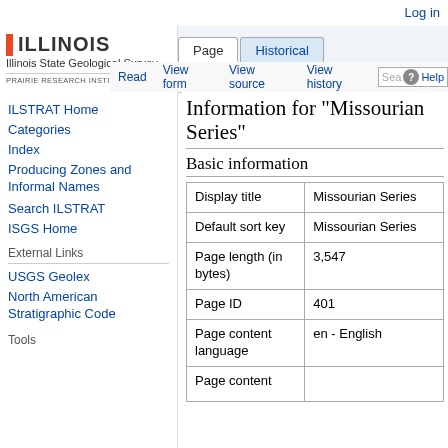Log in
[Figure (logo): Illinois State Geological Survey / Prairie Research Institute logo with orange I bar]
Page | Historical | Read | View form | View source | View history | Search | Help
Information for "Missourian Series"
Basic information
|  |  |
| --- | --- |
| Display title | Missourian Series |
| Default sort key | Missourian Series |
| Page length (in bytes) | 3,547 |
| Page ID | 401 |
| Page content language | en - English |
| Page content |  |
ILSTRAT Home
Categories
Index
Producing Zones and Informal Names
Search ILSTRAT
ISGS Home
External Links
USGS Geolex
North American Stratigraphic Code
Tools